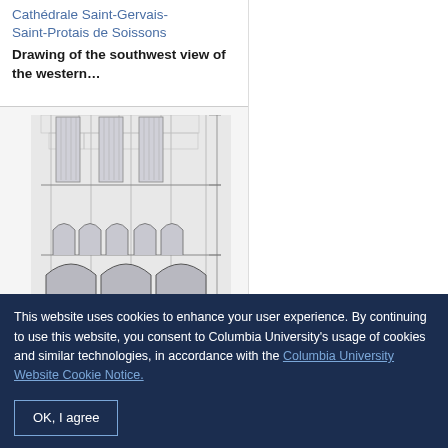Cathédrale Saint-Gervais-Saint-Protais de Soissons
Drawing of the southwest view of the western…
[Figure (illustration): Architectural drawing of the southwest view of the western facade of Cathédrale Saint-Gervais-Saint-Protais de Soissons, showing Gothic arches, columns, and window tracery in black and white.]
This website uses cookies to enhance your user experience. By continuing to use this website, you consent to Columbia University's usage of cookies and similar technologies, in accordance with the Columbia University Website Cookie Notice.
OK, I agree